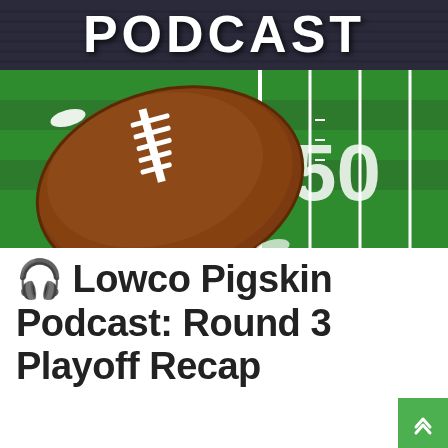[Figure (photo): Football podcast banner image showing a close-up of an American football on a green football field with yard lines visible, and 'PODCAST' text in large white letters at the top.]
🎧 Lowco Pigskin Podcast: Round 3 Playoff Recap